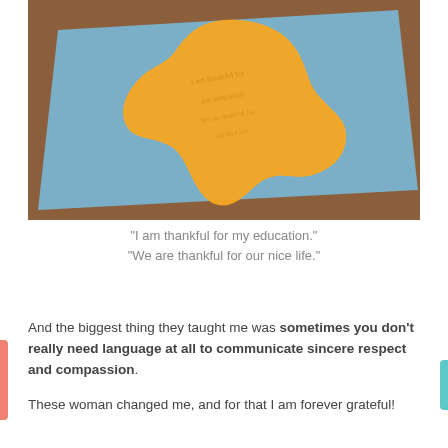[Figure (photo): Close-up photo of an orange paper leaf cutout placed on a blue piece of paper, with handwritten text on the leaf, resting on a brown wooden surface. The leaf has a maple-like shape.]
“I am thankful for my education.” “We are thankful for our nice life.”
And the biggest thing they taught me was sometimes you don’t really need language at all to communicate sincere respect and compassion. These woman changed me, and for that I am forever grateful!